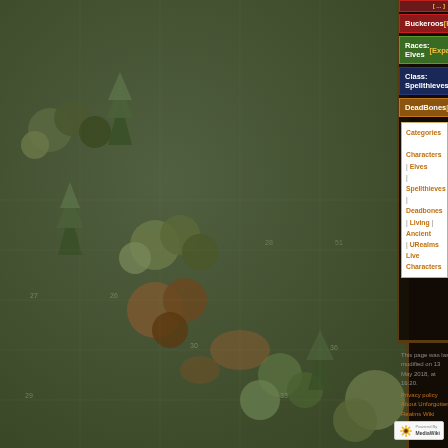[Figure (illustration): Fantasy map background showing a forested/outdoor scene with stylized trees, bushes, and terrain. Dark greenish-brown color palette. Part of a wiki page background.]
Buckeroos [Expand]
Races: Elves [Expand]
Class: Spellthieves [Expand]
DeadBones [Expand]
| Categories | Characters | | | Elves | | | Spellthieves | | | Deadbones | | | Living | | | Ancient | | | URealms Live Characters |
This page was last modified on 13 May 2018, at 16:20.
Privacy policy · About Unforgotten Realms Wiki
Disclaimers
[Figure (logo): Powered by MediaWiki logo badge — white background with sunflower icon and 'Powered By MediaWiki' text]